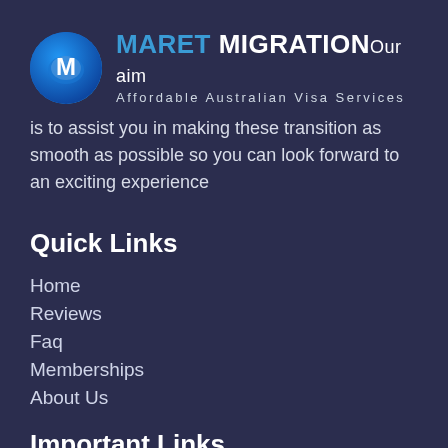[Figure (logo): Maret Migration logo: circular blue globe icon with M letter, next to brand name text 'MARET MIGRATION' and tagline 'Affordable Australian Visa Services']
Our aim is to assist you in making these transition as smooth as possible so you can look forward to an exciting experience
Quick Links
Home
Reviews
Faq
Memberships
About Us
Important Links